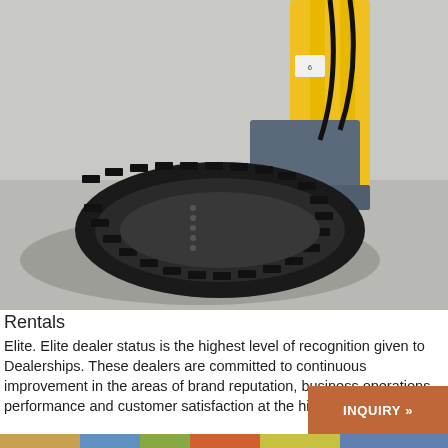[Figure (photo): Close-up photo of a yellow and black mini track loader / compact equipment with rubber tracks on a concrete surface, showing the undercarriage track and a grey attachment bucket.]
Rentals
Elite. Elite dealer status is the highest level of recognition given to Dealerships. These dealers are committed to continuous improvement in the areas of brand reputation, business operations performance and customer satisfaction at the highest level.
[Figure (other): Brown/orange button with bold white text reading 'INQUIRY »']
[Figure (photo): Partial bottom strip of another photo showing colorful items in the background.]